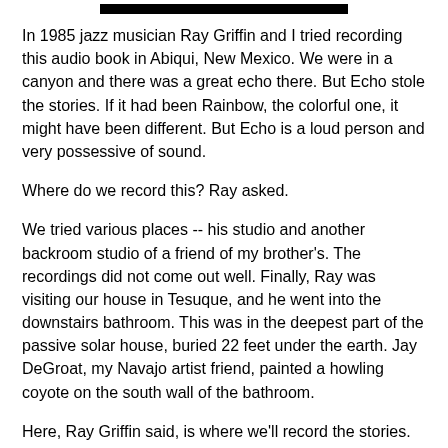[Figure (other): Black horizontal bar at top of page]
In 1985 jazz musician Ray Griffin and I tried recording this audio book in Abiqui, New Mexico.  We were in a canyon and there was a great echo there.  But Echo stole the stories.  If it had been Rainbow, the colorful one, it might have been different.  But Echo is a loud person and very possessive of sound.
Where do we record this? Ray asked.
We tried various places -- his studio and another backroom studio of a friend of my brother's.  The recordings did not come out well.  Finally, Ray was visiting our house in Tesuque, and he went into the downstairs bathroom.  This was in the deepest part of the passive solar house, buried 22 feet under the earth.  Jay DeGroat, my Navajo artist friend, painted a howling coyote on the south wall of the bathroom.
Here, Ray Griffin said, is where we'll record the stories.
Every one was recorded in that holy place, the bathroom, under the ground, in the First World.